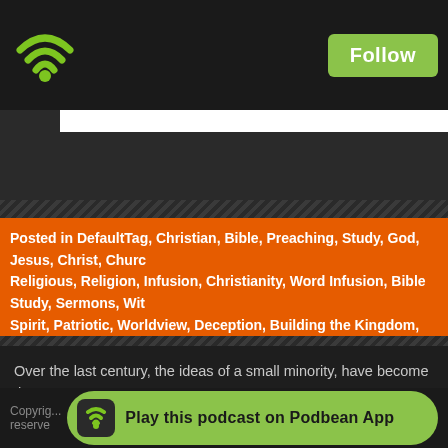[Figure (logo): Podbean WiFi/podcast logo icon in green on dark background, with Follow button]
Read Full Post »
Posted in DefaultTag, Christian, Bible, Preaching, Study, God, Jesus, Christ, Church, Religious, Religion, Infusion, Christianity, Word Infusion, Bible Study, Sermons, Wit, Spirit, Patriotic, Worldview, Deception, Building the Kingdom, Warfare, Power, power May 23rd, 2021 Comments
Over the last century, the ideas of a small minority, have become the America's educational institutions and its political structure. An idea, captures the minds of a nation's youth will soon work its way into everything determine consequences. Today, we will explore the battle of ideas and what we can do about this battle. #fsbcsermon #fsbccoalinga
Contact us at TheWordInfusion@gmail.com with your comments, questions how Mour podcast has blessed, encouraged or helped you. Join us
Copyright reserved. Play this podcast on Podbean App